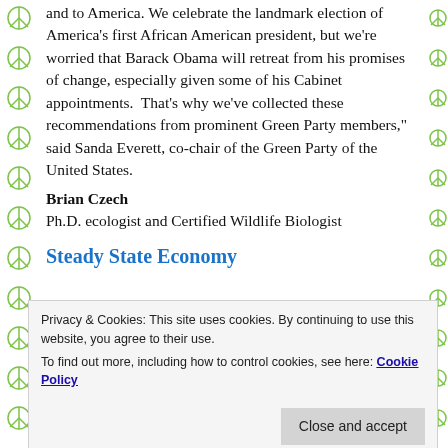and to America. We celebrate the landmark election of America's first African American president, but we're worried that Barack Obama will retreat from his promises of change, especially given some of his Cabinet appointments. That's why we've collected these recommendations from prominent Green Party members," said Sanda Everett, co-chair of the Green Party of the United States.
Brian Czech
Ph.D. ecologist and Certified Wildlife Biologist
Steady State Economy
Privacy & Cookies: This site uses cookies. By continuing to use this website, you agree to their use.
To find out more, including how to control cookies, see here: Cookie Policy